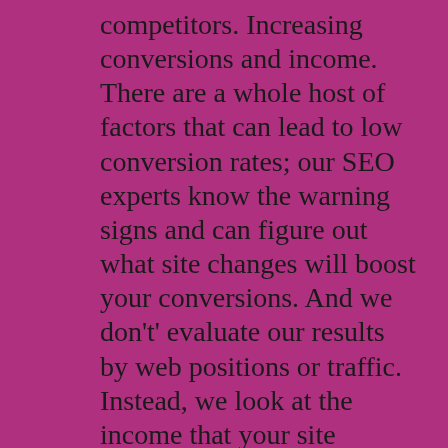competitors. Increasing conversions and income. There are a whole host of factors that can lead to low conversion rates; our SEO experts know the warning signs and can figure out what site changes will boost your conversions. And we don't' evaluate our results by web positions or traffic. Instead, we look at the income that your site brings! After all, you want a more paying audience. Our core beliefs run through each of these SEO services. First, SEO is a marathon, not a sprint. Many SEO firms promise quick results, but optimization is a lengthy process; it must be approached responsibly, the niche, audience, and business need to be analyzed, and optimal solutions must be applied on an individualized basis.